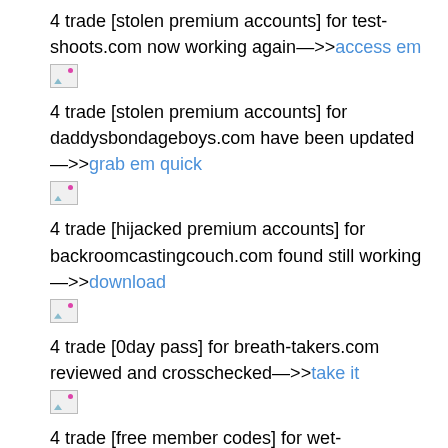4 trade [stolen premium accounts] for test-shoots.com now working again—>>access em
[Figure (other): Broken image icon]
4 trade [stolen premium accounts] for daddysbondageboys.com have been updated—>>grab em quick
[Figure (other): Broken image icon]
4 trade [hijacked premium accounts] for backroomcastingcouch.com found still working—>>download
[Figure (other): Broken image icon]
4 trade [0day pass] for breath-takers.com reviewed and crosschecked—>>take it
[Figure (other): Broken image icon]
4 trade [free member codes] for wet-masturbation.com reviewed and crosschecked—>>visit here
[Figure (other): Broken image icon]
4 trade [free premium accounts] for ridhi...